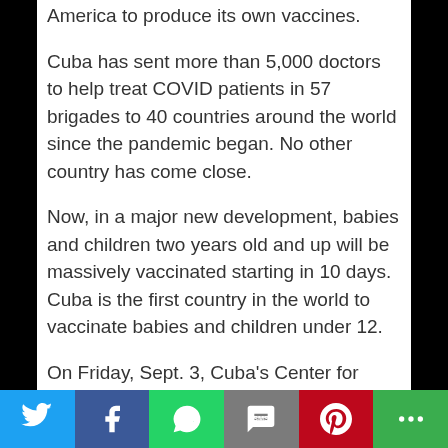America to produce its own vaccines.
Cuba has sent more than 5,000 doctors to help treat COVID patients in 57 brigades to 40 countries around the world since the pandemic began. No other country has come close.
Now, in a major new development, babies and children two years old and up will be massively vaccinated starting in 10 days. Cuba is the first country in the world to vaccinate babies and children under 12.
On Friday, Sept. 3, Cuba's Center for State Control of Medicines, Equipment and Medical Devices (CECMED) announced emergency approval for the mass vaccination of two-year-olds and children